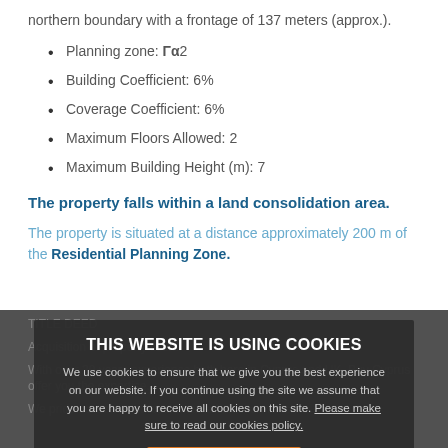northern boundary with a frontage of 137 meters (approx.).
Planning zone: Γα2
Building Coefficient: 6%
Coverage Coefficient: 6%
Maximum Floors Allowed: 2
Maximum Building Height (m): 7
The property falls within a land consolidation area.
The property is situated at a distance approximately 200 m of the Residential Planning Zone.
TITLE DEED
THIS WEBSITE IS USING COOKIES
We use cookies to ensure that we give you the best experience on our website. If you continue using the site we assume that you are happy to receive all cookies on this site. Please make sure to read our cookies policy.
Continue
With over 20 years experience both here in Cyprus and UK, Buy Cyprus offer you the expertise...
We pride ourselves on customer satisfaction which is...